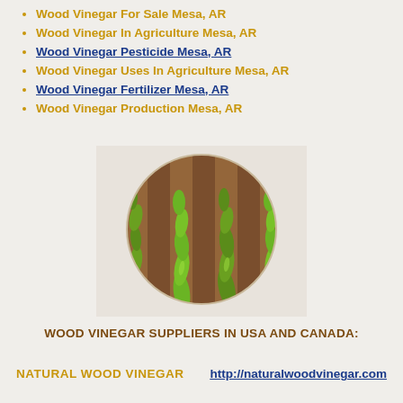Wood Vinegar For Sale Mesa, AR
Wood Vinegar In Agriculture Mesa, AR
Wood Vinegar Pesticide Mesa, AR
Wood Vinegar Uses In Agriculture Mesa, AR
Wood Vinegar Fertilizer Mesa, AR
Wood Vinegar Production Mesa, AR
[Figure (photo): Circular photo of young green crop seedlings growing in rows in brown soil, agricultural field]
WOOD VINEGAR SUPPLIERS IN USA AND CANADA:
NATURAL WOOD VINEGAR    http://naturalwoodvinegar.com